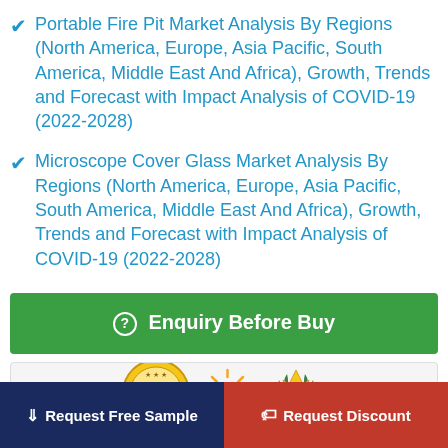Portable Fire Pit Market Analysis By Regions (North America, Europe, Asia Pacific, South America, Middle East And Africa), Growth, Trends and Forecast with Impact Analysis of COVID-19 (2022-2028)
Microscope Cover Glass Market Analysis By Regions (North America, Europe, Asia Pacific, South America, Middle East And Africa), Growth, Trends and Forecast with Impact Analysis of COVID-19 (2022-2028)
Enquiry Before Buy
[Figure (other): Three badge/seal icons: a gold 100% seal, a sun/star icon, and a laurel wreath crown icon]
Request Free Sample
Request Discount